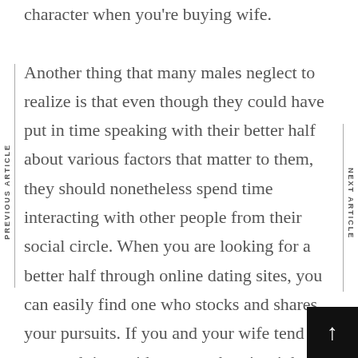character when you're buying wife. Another thing that many males neglect to realize is that even though they could have put in time speaking with their better half about various factors that matter to them, they should nonetheless spend time interacting with other people from their social circle. When you are looking for a better half through online dating sites, you can easily find one who stocks and shares your pursuits. If you and your wife tend not to spend time with one another, it might bit difficult at some point. You never kno